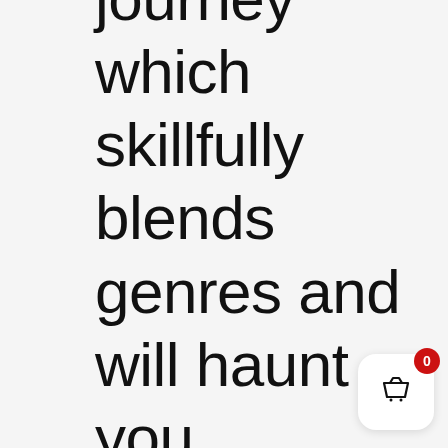journey which skillfully blends genres and will haunt you with its original, poetic voices as much as its
[Figure (other): Shopping basket widget with a red badge showing count 0]